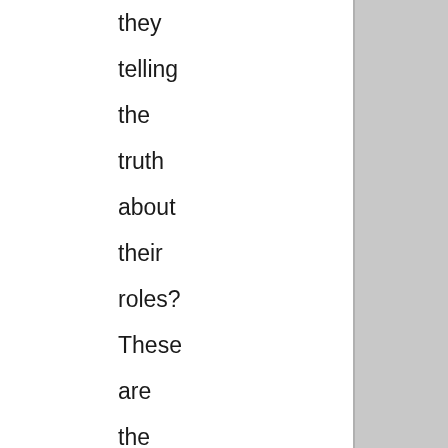they telling the truth about their roles? These are the landmines; if congress persues this and tries to find the truth of what went wrong